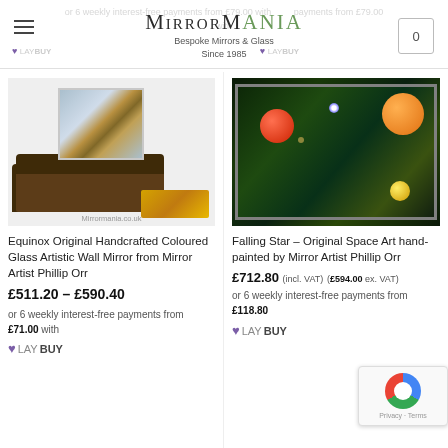MirrorMania – Bespoke Mirrors & Glass Since 1985
[Figure (photo): Product photo of Equinox Original Handcrafted Coloured Glass Artistic Wall Mirror shown above a brown sofa with gold accent piece, with watermark Mirrormania.co.uk]
Equinox Original Handcrafted Coloured Glass Artistic Wall Mirror from Mirror Artist Phillip Orr
£511.20 – £590.40
or 6 weekly interest-free payments from £71.00 with LAYBUY
[Figure (photo): Product photo of Falling Star original space art painting showing colorful planets and a star burst on a green nebula background, in a silver frame]
Falling Star – Original Space Art hand-painted by Mirror Artist Phillip Orr
£712.80 (incl. VAT) (£594.00 ex. VAT)
or 6 weekly interest-free payments from £118.80
LAYBUY